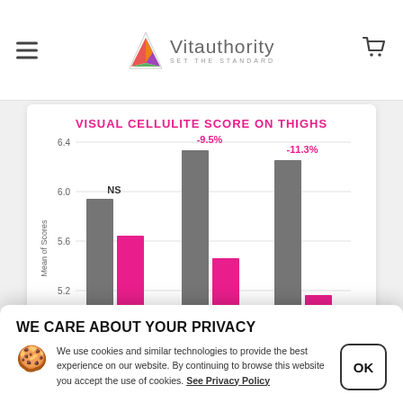Vitauthority — SET THE STANDARD
[Figure (grouped-bar-chart): VISUAL CELLULITE SCORE ON THIGHS]
WE CARE ABOUT YOUR PRIVACY
We use cookies and similar technologies to provide the best experience on our website. By continuing to browse this website you accept the use of cookies. See Privacy Policy